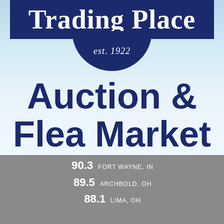[Figure (logo): Trading Place logo with dark navy banner at top showing 'Trading Place' text and a circular badge below reading 'est. 1922']
Auction & Flea Market
90.3  FORT WAYNE, IN
89.5  ARCHBOLD, OH
88.1  LIMA, OH